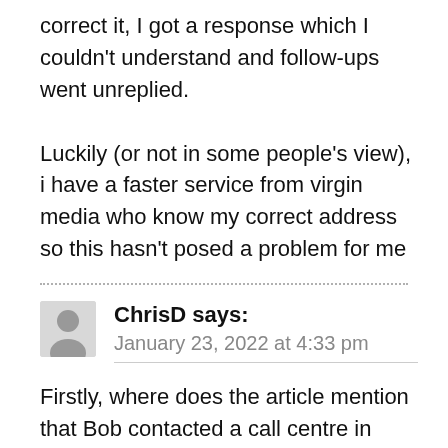correct it, I got a response which I couldn't understand and follow-ups went unreplied.
Luckily (or not in some people's view), i have a faster service from virgin media who know my correct address so this hasn't posed a problem for me
ChrisD says:
January 23, 2022 at 4:33 pm
Firstly, where does the article mention that Bob contacted a call centre in India? Secondly, assuming you're basing your comment on an interaction you once had with a call centre in India that didn't go your way, is no reason to tar all call centres in an entire subcontinent with your xenophobic views. That's the problem with Damien's…. their comments are always